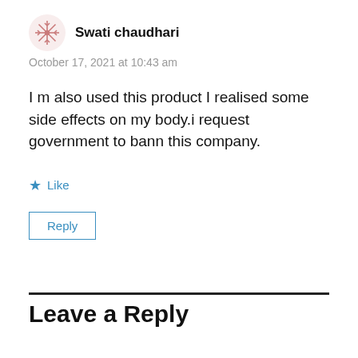[Figure (illustration): Pink/salmon colored snowflake avatar icon for user Swati chaudhari]
Swati chaudhari
October 17, 2021 at 10:43 am
I m also used this product I realised some side effects on my body.i request government to bann this company.
Like
Reply
Leave a Reply